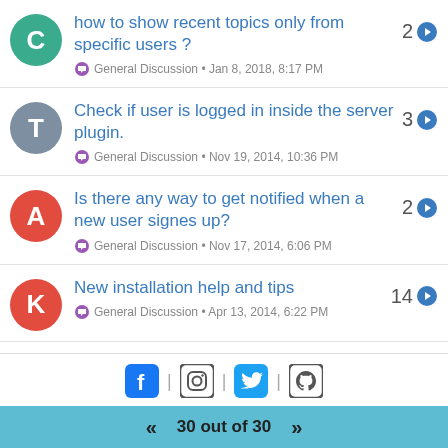how to show recent topics only from specific users ? — General Discussion • Jan 8, 2018, 8:17 PM — 2
Check if user is logged in inside the server plugin. — General Discussion • Nov 19, 2014, 10:36 PM — 3
Is there any way to get notified when a new user signes up? — General Discussion • Nov 17, 2014, 6:06 PM — 2
New installation help and tips — General Discussion • Apr 13, 2014, 6:22 PM — 14
[Figure (infographic): Social media icons: Facebook, Instagram, Twitter, GitHub with pipe separators]
30 out of 30